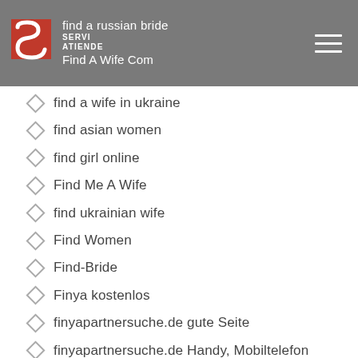find a russian bride | Find A Wife Com
find a wife in ukraine
find asian women
find girl online
Find Me A Wife
find ukrainian wife
Find Women
Find-Bride
Finya kostenlos
finyapartnersuche.de gute Seite
finyapartnersuche.de Handy, Mobiltelefon
finyapartnersuche.de Lies hier
finyapartnersuche.de Pop ?ber diese Jungs
finyapartnersuche.de Pop ?ber zu dieser Web-Site
finyapartnersuche.de reddit
finyapartnersuche.de Wie funktioniert
Find A-i...